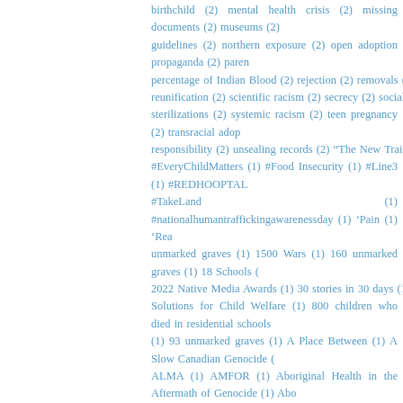birthchild (2) mental health crisis (2) missing documents (2) museums (2) guidelines (2) northern exposure (2) open adoption propaganda (2) parental responsibility (2) percentage of Indian Blood (2) rejection (2) removals (2) residential reunification (2) scientific racism (2) secrecy (2) social worker (2) state sterilizations (2) systemic racism (2) teen pregnancy (2) transracial adoption responsibility (2) unsealing records (2) "The New Trail of Tears" (2) #EveryChildMatters (1) #Food Insecurity (1) #Line3 (1) #REDHOOPTALK #TakeLand (1) #nationalhumantraffickingawarenessday (1) 'Pain (1) 'Rea unmarked graves (1) 1500 Wars (1) 160 unmarked graves (1) 18 Schools (1) 2022 Native Media Awards (1) 30 stories in 30 days (1) 54 Unmarked G Solutions for Child Welfare (1) 800 children who died in residential schools (1) 93 unmarked graves (1) A Place Between (1) A Slow Canadian Genocide (1) ALMA (1) AMFOR (1) Aboriginal Health in the Aftermath of Genocide (1) Aboriginal Deer (1) Adam Piron (1) Adopt Indian and Métis Program (1) AdoptFilm: The Adoptee Film Channel (1) Adoptee Fog (1) Adoptee Powwow (1) Adoptee Rights Law Center PLLC (1) Adoptee Survival Guide (1) Adoptees C Birth Records (1) Adoptees United Inc. (1) Adoption Adaptation (1) Adoption Dissolutions (1) Adoption Failures: Dissolutions #NAAM (1) Adoption Fair Tribal Special Needs Children (1) Adoption Initiative Conference (1) Adoption and Survival (1) Adoption Mafia (1) Adoption Reality: Adoptee returned to Ireland #NAAM (1) Adoption Reality: Kazakhstan #NAAM (1) Adoption Reality: Samoa #NAAM (1) Adoption Reality: Spain #NAAM (1) Adoption Ra (1) Adoption Warriors (1) Adoption and Addiction (1) Adoption in reverse (1) Unchartered Waters book (1) Adoptionland (1) Adoptive Couple vs. Baby Girl Buffalo (1) Adrian Smith (1) Adrian Sutherland (1) Adrienne Keene (1) Adrienne